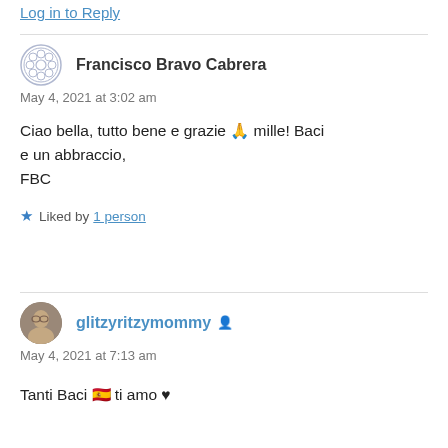Log in to Reply
Francisco Bravo Cabrera
May 4, 2021 at 3:02 am

Ciao bella, tutto bene e grazie 🙏 mille! Baci e un abbraccio,
FBC
Liked by 1 person
glitzyritzymommy
May 4, 2021 at 7:13 am

Tanti Baci 🇪🇸 ti amo ♥